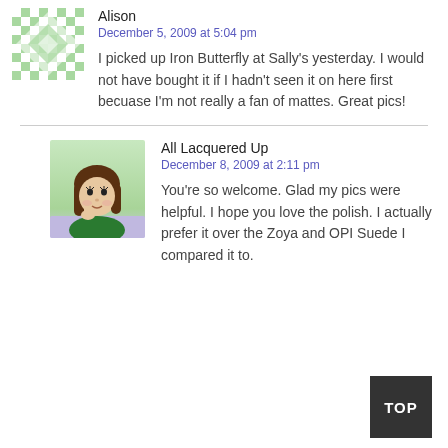Alison
December 5, 2009 at 5:04 pm
I picked up Iron Butterfly at Sally's yesterday. I would not have bought it if I hadn't seen it on here first becuase I'm not really a fan of mattes. Great pics!
All Lacquered Up
December 8, 2009 at 2:11 pm
You're so welcome. Glad my pics were helpful. I hope you love the polish. I actually prefer it over the Zoya and OPI Suede I compared it to.